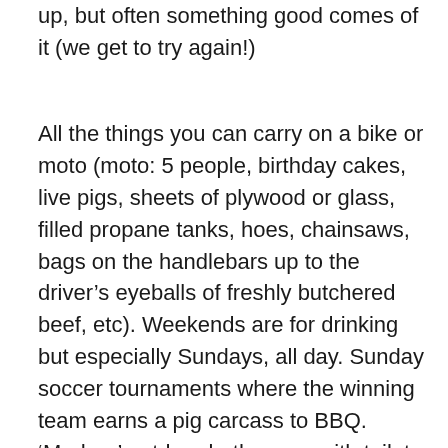up, but often something good comes of it (we get to try again!)
All the things you can carry on a bike or moto (moto: 5 people, birthday cakes, live pigs, sheets of plywood or glass, filled propane tanks, hoes, chainsaws, bags on the handlebars up to the driver's eyeballs of freshly butchered beef, etc). Weekends are for drinking but especially Sundays, all day. Sunday soccer tournaments where the winning team earns a pig carcass to BBQ. ‘Modern’ outdoor bathrooms with toilet and shower in a 3’x4’ space just big enough to stand in but not actually move. Termite mounds dotting the prairie. Diesel fumes. When the church was repainted from pink to red-orange. Friendship, support and regular talks with special PCVs. Rezos. Monday morning custom of visiting deceased family at the